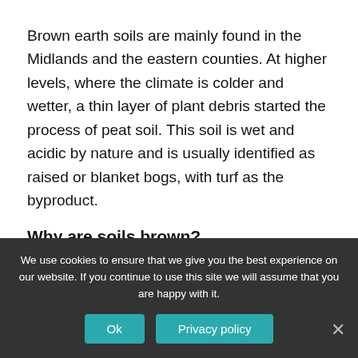Brown earth soils are mainly found in the Midlands and the eastern counties. At higher levels, where the climate is colder and wetter, a thin layer of plant debris started the process of peat soil. This soil is wet and acidic by nature and is usually identified as raised or blanket bogs, with turf as the byproduct.
Why are soils brown?
Brown soils might be brown from decaying
We use cookies to ensure that we give you the best experience on our website. If you continue to use this site we will assume that you are happy with it.